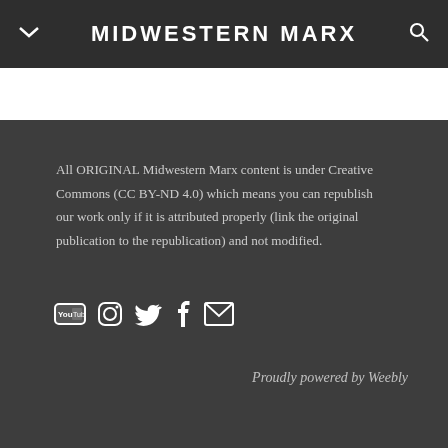MIDWESTERN MARX
All ORIGINAL Midwestern Marx content is under Creative Commons (CC BY-ND 4.0) which means you can republish our work only if it is attributed properly (link the original publication to the republication) and not modified.
[Figure (other): Social media icons: YouTube, Instagram, Twitter, Facebook, Email]
Proudly powered by Weebly